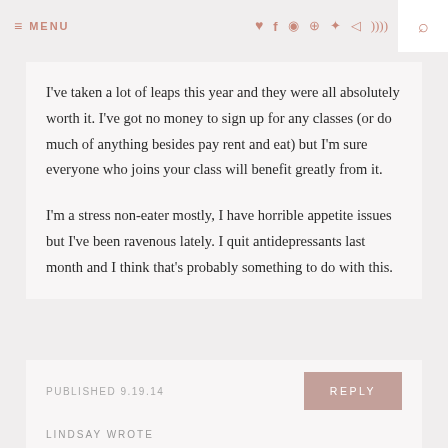☰ MENU ♥ f ◻ ◻ ✦ ✈ )))  🔍
I've taken a lot of leaps this year and they were all absolutely worth it. I've got no money to sign up for any classes (or do much of anything besides pay rent and eat) but I'm sure everyone who joins your class will benefit greatly from it.

I'm a stress non-eater mostly, I have horrible appetite issues but I've been ravenous lately. I quit antidepressants last month and I think that's probably something to do with this.
PUBLISHED 9.19.14
LINDSAY WROTE